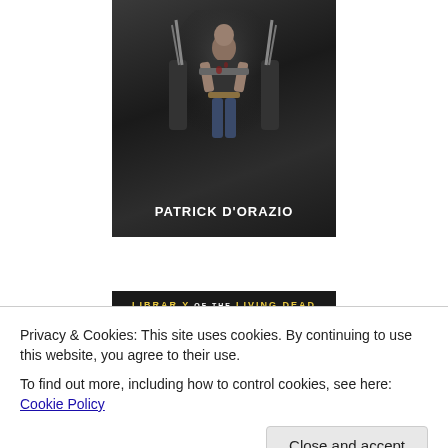[Figure (photo): Book cover showing a man holding weapons in an action pose, title 'Patrick D'Orazio' at the bottom in bold white text, dark moody background with weapons and figures]
[Figure (photo): Book cover for 'Library of the Living Dead: Into the...' with yellow/gold text on dark background]
Privacy & Cookies: This site uses cookies. By continuing to use this website, you agree to their use.
To find out more, including how to control cookies, see here: Cookie Policy
Close and accept